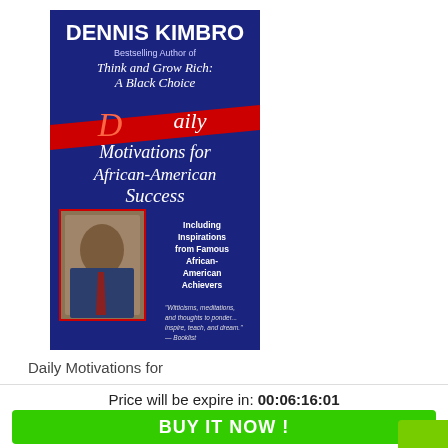[Figure (illustration): Book cover of 'Daily Motivations for African-American Success' by Dennis Kimbro. Blue background with red banner, author name at top, large white italic title text, photo of author (African-American man in suit), and subtitle text including inspirations from famous African-American Achievers. Quote from Booklist at bottom.]
Daily Motivations for
Price will be expire in: 00:06:16:01
BUY IT NOW !